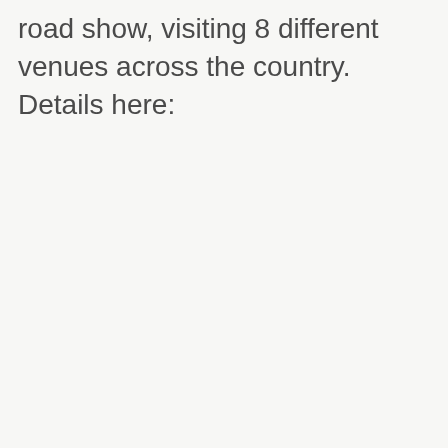road show, visiting 8 different venues across the country. Details here: